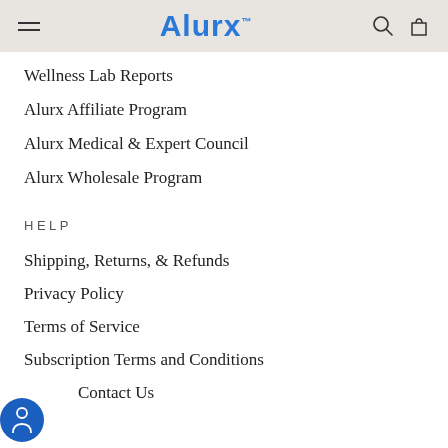Alurx
Wellness Lab Reports
Alurx Affiliate Program
Alurx Medical & Expert Council
Alurx Wholesale Program
HELP
Shipping, Returns, & Refunds
Privacy Policy
Terms of Service
Subscription Terms and Conditions
Contact Us